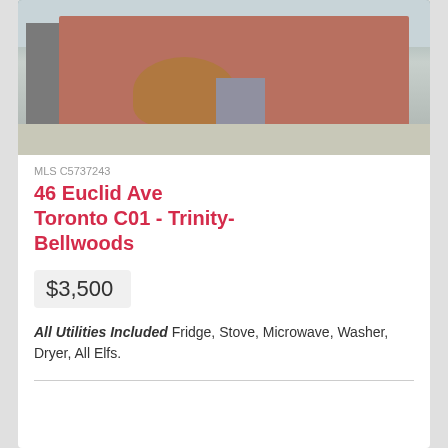[Figure (photo): Exterior photo of a brick house at 46 Euclid Ave with a front porch, white railing, stone pathway, and tree with mulch ring]
MLS C5737243
46 Euclid Ave Toronto C01 - Trinity-Bellwoods
$3,500
All Utilities Included Fridge, Stove, Microwave, Washer, Dryer, All Elfs.